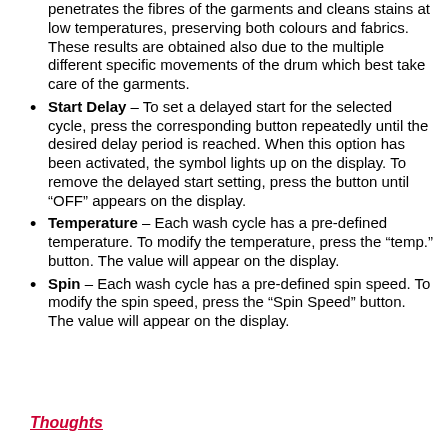penetrates the fibres of the garments and cleans stains at low temperatures, preserving both colours and fabrics. These results are obtained also due to the multiple different specific movements of the drum which best take care of the garments.
Start Delay – To set a delayed start for the selected cycle, press the corresponding button repeatedly until the desired delay period is reached. When this option has been activated, the symbol lights up on the display. To remove the delayed start setting, press the button until “OFF” appears on the display.
Temperature – Each wash cycle has a pre-defined temperature. To modify the temperature, press the “temp.” button. The value will appear on the display.
Spin – Each wash cycle has a pre-defined spin speed. To modify the spin speed, press the “Spin Speed” button. The value will appear on the display.
Thoughts